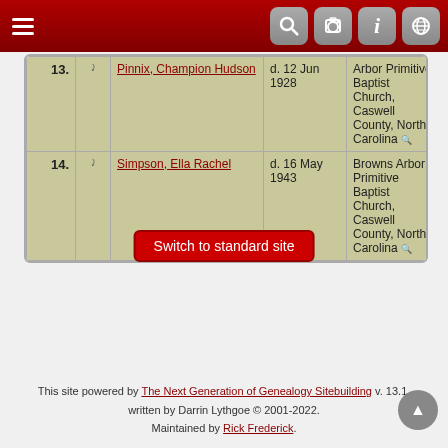Navigation header bar with hamburger menu and icons
| # |  | Name | Date | Place | ID |
| --- | --- | --- | --- | --- | --- |
| 13. | 🔗 | Pinnix, Champion Hudson | d. 12 Jun 1928 | Arbor Primitive Baptist Church, Caswell County, North Carolina | I15915 |
| 14. | 🔗 | Simpson, Ella Rachel | d. 16 May 1943 | Browns Arbor Primitive Baptist Church, Caswell County, North Carolina | I15912 |
Switch to standard site
This site powered by The Next Generation of Genealogy Sitebuilding v. 13.1, written by Darrin Lythgoe © 2001-2022. Maintained by Rick Frederick.